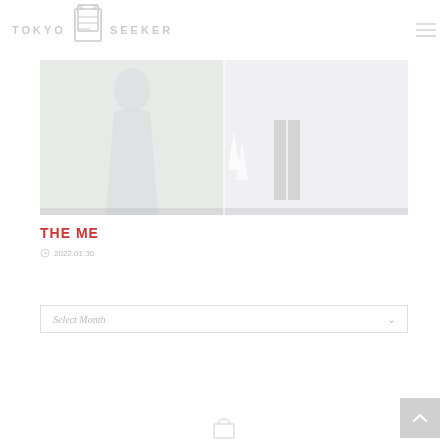TOKYO SEEKER
[Figure (photo): Fashion/street style photo showing two people, one in a light blue/white flowing dress and one in dark pants and white sneakers, on a bright outdoor setting]
THE ME
2022.01.30
Select Month